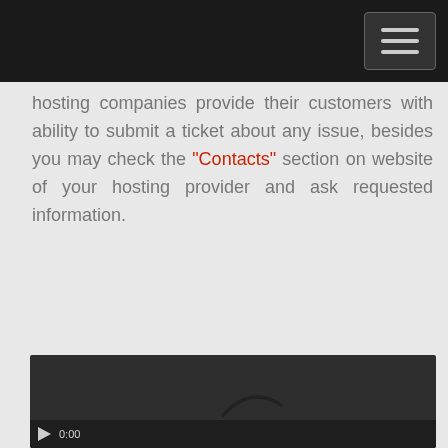hosting companies provide their customers with ability to submit a ticket about any issue, besides you may check the "Contacts" section on website of your hosting provider and ask requested information.
[Figure (screenshot): Dark video player with a loading/spinner arc in the center and video controls (play button and 0:00 timestamp) at the bottom]